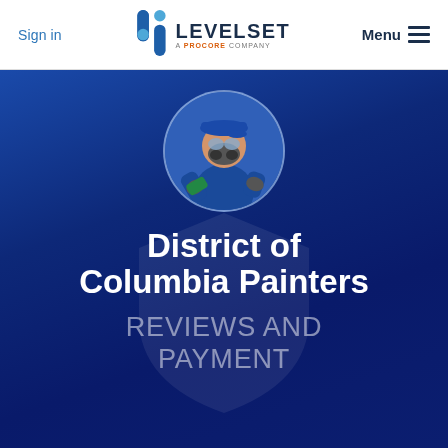Sign in | LEVELSET A PROCORE COMPANY | Menu
[Figure (screenshot): Levelset website screenshot showing navigation bar with Sign in link, Levelset logo (a Procore company), and Menu hamburger icon, followed by a dark blue hero banner with a circular portrait of a painter wearing blue hat, respirator mask and gloves, above large white text reading 'District of Columbia Painters' and lighter text reading 'REVIEWS AND PAYMENT HISTORY']
District of Columbia Painters
REVIEWS AND PAYMENT HISTORY